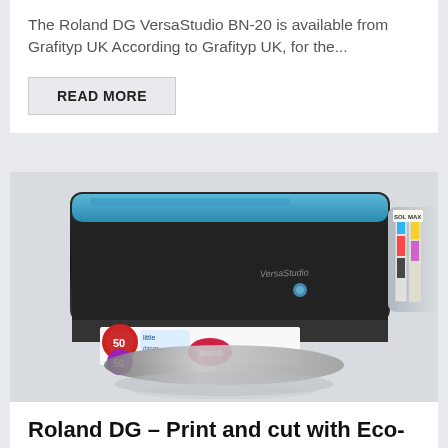The Roland DG VersaStudio BN-20 is available from Grafityp UK According to Grafityp UK, for the...
READ MORE
[Figure (photo): Photo of a Roland DG VersaStudio print and cut machine with colorful printed sticker sheets coming out, and Eco-Sol Max ink cartridges visible on the right side.]
Roland DG – Print and cut with Eco-Sol Max
Oct 29, 2016 | Printers | Print | Tags from...